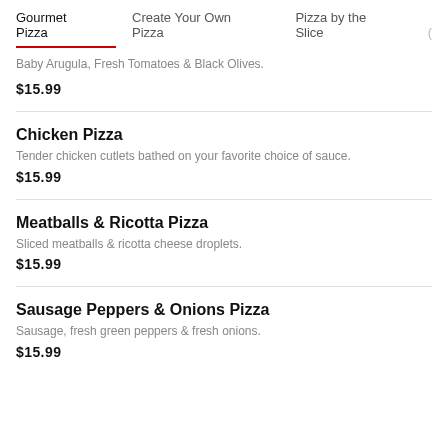Gourmet Pizza   Create Your Own Pizza   Pizza by the Slice
Baby Arugula, Fresh Tomatoes & Black Olives.
$15.99
Chicken Pizza
Tender chicken cutlets bathed on your favorite choice of sauce.
$15.99
Meatballs & Ricotta Pizza
Sliced meatballs & ricotta cheese droplets.
$15.99
Sausage Peppers & Onions Pizza
Sausage, fresh green peppers & fresh onions.
$15.99